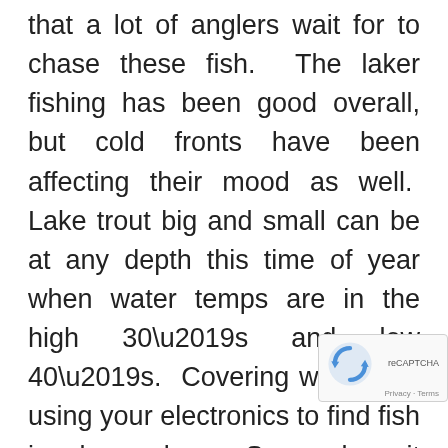that a lot of anglers wait for to chase these fish.  The laker fishing has been good overall, but cold fronts have been affecting their mood as well.  Lake trout big and small can be at any depth this time of year when water temps are in the high 30’s and low 40’s.  Covering water and using your electronics to find fish is always key.  Some days it seems hard to find them on your electronics and when this is the case, trolling a variety of baits at a variety of depths can be a great approach for dialing in a pattern.  Lake trout are prolific in Blue Mesa thanks to the variety of food they have to eat and